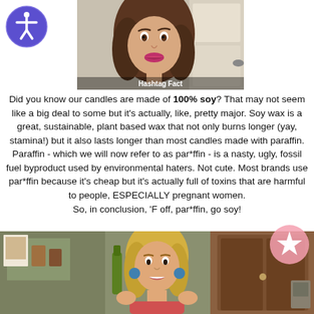[Figure (photo): Accessibility icon button (blue circle with white person figure) in top left corner]
[Figure (photo): Woman with brown wavy hair and pink lipstick looking surprised or disgusted, with text overlay reading 'Hashtag Fact']
Did you know our candles are made of 100% soy? That may not seem like a big deal to some but it's actually, like, pretty major. Soy wax is a great, sustainable, plant based wax that not only burns longer (yay, stamina!) but it also lasts longer than most candles made with paraffin. Paraffin - which we will now refer to as par*ffin - is a nasty, ugly, fossil fuel byproduct used by environmental haters. Not cute. Most brands use par*ffin because it's cheap but it's actually full of toxins that are harmful to people, ESPECIALLY pregnant women.
So, in conclusion, 'F off, par*ffin, go soy!
[Figure (photo): Blonde woman in a cluttered room holding items, celebratory pose]
[Figure (other): Pink circle badge with white star icon in bottom right corner]